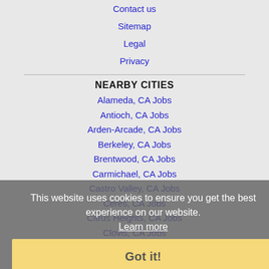Contact us
Sitemap
Legal
Privacy
NEARBY CITIES
Alameda, CA Jobs
Antioch, CA Jobs
Arden-Arcade, CA Jobs
Berkeley, CA Jobs
Brentwood, CA Jobs
Carmichael, CA Jobs
Castro Valley, CA Jobs
Ceres, CA Jobs
Citrus Heights, CA Jobs
Clovis, CA Jobs
Concord, CA Jobs
Cupertino, CA Jobs
This website uses cookies to ensure you get the best experience on our website. Learn more
Got it!